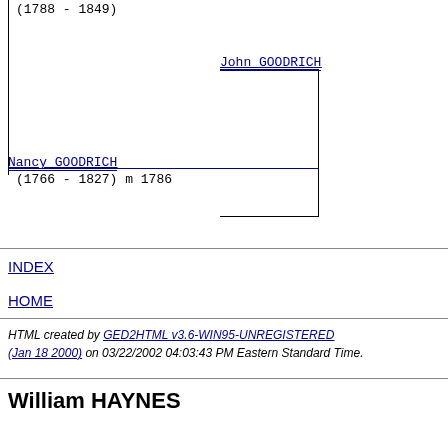(1788 - 1849)
John GOODRICH
Nancy GOODRICH
(1766 - 1827) m 1786
INDEX
HOME
HTML created by GED2HTML v3.6-WIN95-UNREGISTERED (Jan 18 2000) on 03/22/2002 04:03:43 PM Eastern Standard Time.
William HAYNES